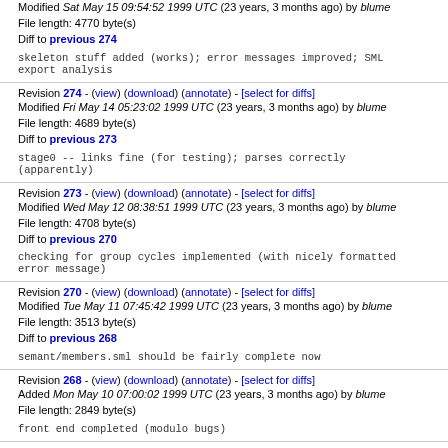Modified Sat May 15 09:54:52 1999 UTC (23 years, 3 months ago) by blume
File length: 4770 byte(s)
Diff to previous 274
skeleton stuff added (works); error messages improved; SML
export analysis
Revision 274 - (view) (download) (annotate) - [select for diffs]
Modified Fri May 14 05:23:02 1999 UTC (23 years, 3 months ago) by blume
File length: 4689 byte(s)
Diff to previous 273
stage0 -- links fine (for testing); parses correctly
(apparently)
Revision 273 - (view) (download) (annotate) - [select for diffs]
Modified Wed May 12 08:38:51 1999 UTC (23 years, 3 months ago) by blume
File length: 4708 byte(s)
Diff to previous 270
checking for group cycles implemented (with nicely formatted
error message)
Revision 270 - (view) (download) (annotate) - [select for diffs]
Modified Tue May 11 07:45:42 1999 UTC (23 years, 3 months ago) by blume
File length: 3513 byte(s)
Diff to previous 268
semant/members.sml should be fairly complete now
Revision 268 - (view) (download) (annotate) - [select for diffs]
Added Mon May 10 07:00:02 1999 UTC (23 years, 3 months ago) by blume
File length: 2849 byte(s)
front end completed (modulo bugs)